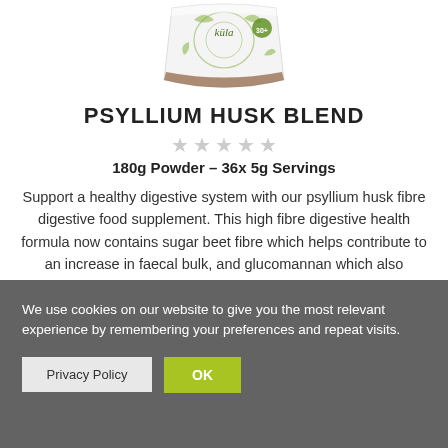[Figure (photo): Product image of Kula Psyllium Husk Blend supplement bag, white bag with green botanical design]
PSYLLIUM HUSK BLEND
180g Powder – 36x 5g Servings
Support a healthy digestive system with our psyllium husk fibre digestive food supplement. This high fibre digestive health formula now contains sugar beet fibre which helps contribute to an increase in faecal bulk, and glucomannan which also contributes to the maintenance of normal blood
We use cookies on our website to give you the most relevant experience by remembering your preferences and repeat visits.